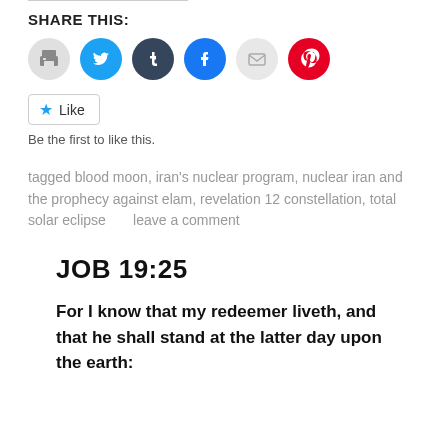SHARE THIS:
[Figure (infographic): Social sharing icons: print (gray), Twitter (blue), Tumblr (dark navy), Facebook (blue), email (light gray), Pinterest (red)]
Like   Be the first to like this.
tagged blood moon, iran's nuclear program, nuclear iran and the prophecy against elam, revelation 12 constellation, total solar eclipse      leave a comment
JOB 19:25
For I know that my redeemer liveth, and that he shall stand at the latter day upon the earth: